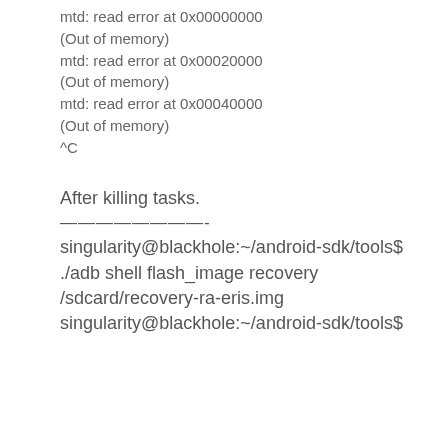mtd: read error at 0x00000000 (Out of memory)
mtd: read error at 0x00020000 (Out of memory)
mtd: read error at 0x00040000 (Out of memory)
^C
After killing tasks.
————————-
singularity@blackhole:~/android-sdk/tools$ ./adb shell flash_image recovery /sdcard/recovery-ra-eris.img
singularity@blackhole:~/android-sdk/tools$